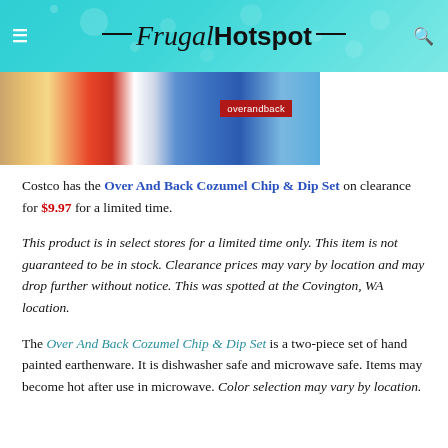Frugal Hotspot
[Figure (photo): Product image showing Over And Back Cozumel Chip & Dip Set with colorful floral design and red 'overandback' branded label]
Costco has the Over And Back Cozumel Chip & Dip Set on clearance for $9.97 for a limited time.
This product is in select stores for a limited time only. This item is not guaranteed to be in stock. Clearance prices may vary by location and may drop further without notice. This was spotted at the Covington, WA location.
The Over And Back Cozumel Chip & Dip Set is a two-piece set of hand painted earthenware. It is dishwasher safe and microwave safe. Items may become hot after use in microwave. Color selection may vary by location.